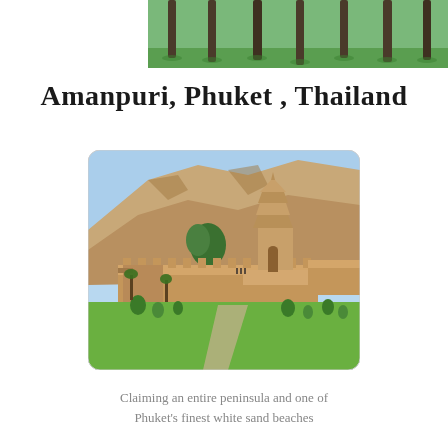[Figure (photo): Top portion of a photo showing tall palm trees on a green lawn, partially visible at the top of the page.]
Amanpuri, Phuket , Thailand
[Figure (photo): Photograph of an ancient Indian temple complex with a large Hindu shikhara tower, surrounded by fortification walls, lush green grounds, and a rocky hillside in the background under a blue sky.]
Claiming an entire peninsula and one of Phuket's finest white sand beaches